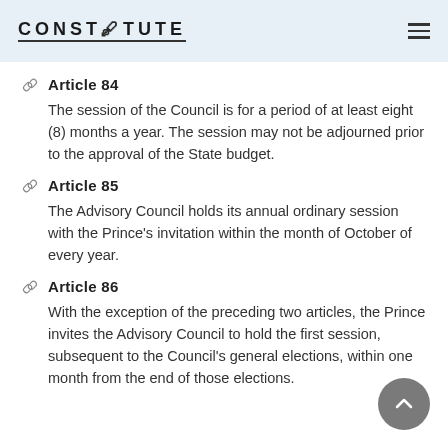CONSTITUTE
Article 84
The session of the Council is for a period of at least eight (8) months a year. The session may not be adjourned prior to the approval of the State budget.
Article 85
The Advisory Council holds its annual ordinary session with the Prince's invitation within the month of October of every year.
Article 86
With the exception of the preceding two articles, the Prince invites the Advisory Council to hold the first session, subsequent to the Council's general elections, within one month from the end of those elections.